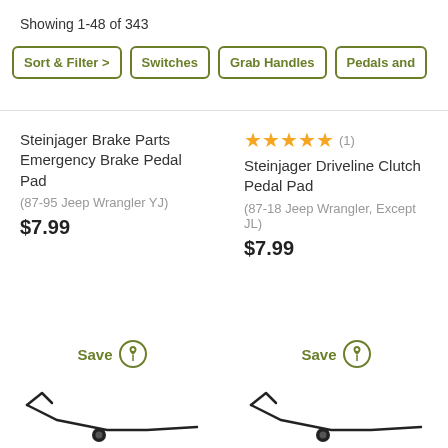Showing 1-48 of 343
Sort & Filter >
Switches
Grab Handles
Pedals and
Steinjager Brake Parts Emergency Brake Pedal Pad
(87-95 Jeep Wrangler YJ)
$7.99
Steinjager Driveline Clutch Pedal Pad
(87-18 Jeep Wrangler, Except JL)
$7.99
[Figure (other): Spring/pedal pad part image - left product]
[Figure (other): Spring/pedal pad part image - right product]